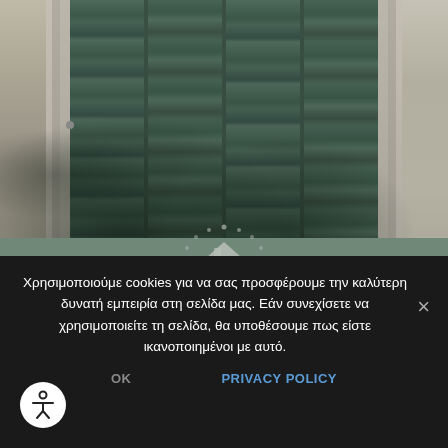[Figure (photo): Photograph of an old weathered wooden door with greenish-grey paint, set in a stone wall. The door has vertical planks and is flanked by rough stone masonry on both sides.]
[Figure (other): House/home icon with decorative dot pattern surrounding it, displayed on a sage green background, partially overlapping the photo]
Διατηρητέα Κτίρια
Χρησιμοποιούμε cookies για να σας προσφέρουμε την καλύτερη δυνατή εμπειρία στη σελίδα μας. Εάν συνεχίσετε να χρησιμοποιείτε τη σελίδα, θα υποθέσουμε πως είστε ικανοποιημένοι με αυτό.
OK
PRIVACY POLICY